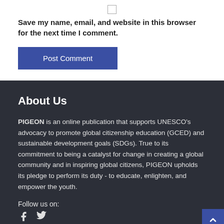[Figure (other): Checkbox input element]
Save my name, email, and website in this browser for the next time I comment.
Post Comment
About Us
PIGEON is an online publication that supports UNESCO's advocacy to promote global citizenship education (GCED) and sustainable development goals (SDGs). True to its commitment to being a catalyst for change in creating a global community and in inspiring global citizens, PIGEON upholds its pledge to perform its duty - to educate, enlighten, and empower the youth.
Follow us on:
[Figure (other): Facebook and Twitter social media icons]